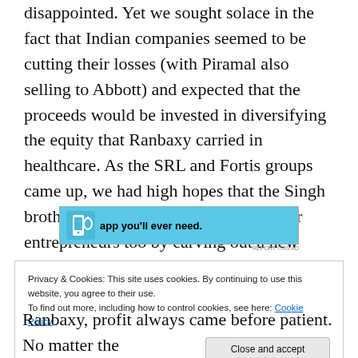disappointed. Yet we sought solace in the fact that Indian companies seemed to be cutting their losses (with Piramal also selling to Abbott) and expected that the proceeds would be invested in diversifying the equity that Ranbaxy carried in healthcare. As the SRL and Fortis groups came up, we had high hopes that the Singh brothers were showing the way to other entrepreneurs too by carving out a new path.
[Figure (other): Advertisement banner with light blue background showing a smartphone icon and text 'app you'll ever need.' with 'REPORT THIS AD' label below.]
Privacy & Cookies: This site uses cookies. By continuing to use this website, you agree to their use.
To find out more, including how to control cookies, see here: Cookie Policy
Close and accept
Ranbaxy, profit always came before patient. No matter the